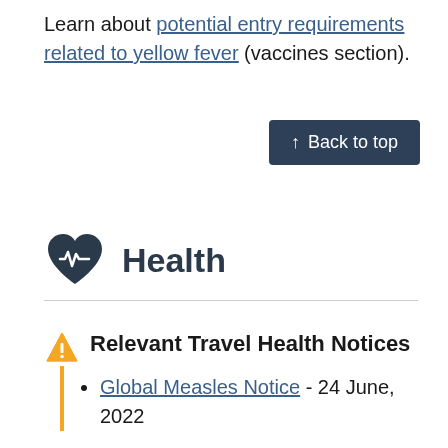Learn about potential entry requirements related to yellow fever (vaccines section).
↑ Back to top
Health
Relevant Travel Health Notices
Global Measles Notice - 24 June, 2022